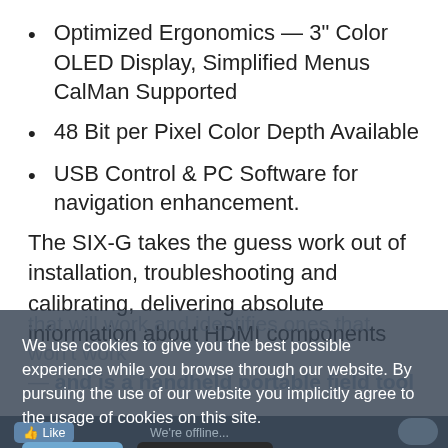Optimized Ergonomics — 3" Color OLED Display, Simplified Menus CalMan Supported
48 Bit per Pixel Color Depth Available
USB Control & PC Software for navigation enhancement.
The SIX-G takes the guess work out of installation, troubleshooting and calibrating, delivering absolute information about HDMI components that will work and identifies ones that won't work — and is a handheld portable field tool
We use cookies to give you the best possible experience while you browse through our website. By pursuing the use of our website you implicitly agree to the usage of cookies on this site.
Got it!  Do not track